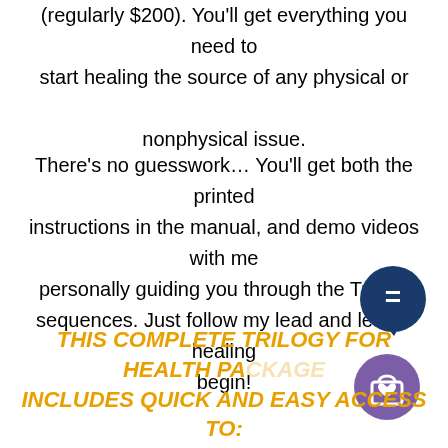(regularly $200). You'll get everything you need to start healing the source of any physical or nonphysical issue.
There's no guesswork… You'll get both the printed instructions in the manual, and demo videos with me personally guiding you through the Trilogy sequences. Just follow my lead and let the healing begin!
[Figure (illustration): Dark blue circular chat bubble icon with equals sign]
[Figure (illustration): Purple circular shopping cart icon with heart]
THIS COMPLETE TRILOGY FOR HEALTH PACKAGE INCLUDES QUICK AND EASY ACCESS TO: